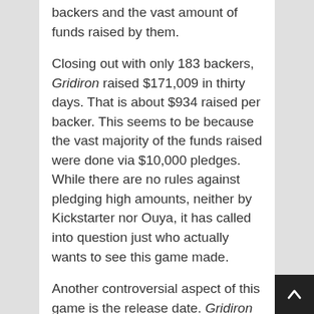backers and the vast amount of funds raised by them.
Closing out with only 183 backers, Gridiron raised $171,009 in thirty days. That is about $934 raised per backer. This seems to be because the vast majority of the funds raised were done via $10,000 pledges. While there are no rules against pledging high amounts, neither by Kickstarter nor Ouya, it has called into question just who actually wants to see this game made.
Another controversial aspect of this game is the release date. Gridiron Thunder's campaign lists